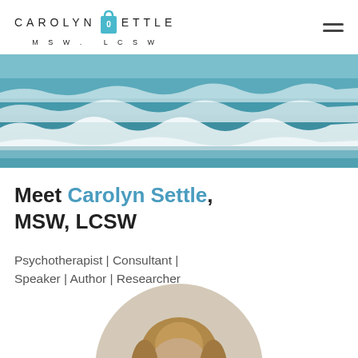CAROLYN SETTLE MSW, LCSW [logo with shopping bag icon and hamburger menu]
[Figure (photo): Aerial or shoreline photo of ocean waves — teal/blue waves with white foam]
Meet Carolyn Settle, MSW, LCSW
Psychotherapist | Consultant | Speaker | Author | Researcher
[Figure (photo): Circular portrait photo of a woman with shoulder-length blonde hair, smiling, wearing a dark jacket over a white shirt, against a light background]